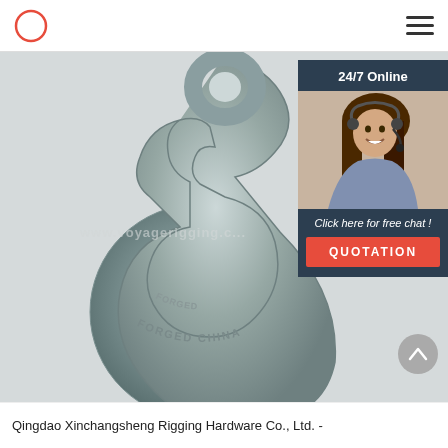Qindao Xinchangsheng Rigging Hardware Co., Ltd. - [logo and navigation]
[Figure (photo): Close-up photograph of a galvanized steel eye hook stamped with 'FORGED CHINA', with a watermark 'www.voyagerigging.com' overlaid. An advertisement widget for 24/7 online chat is overlaid in the top-right corner of the image, showing a customer service woman with a headset, text 'Click here for free chat!' and an orange 'QUOTATION' button.]
Qingdao Xinchangsheng Rigging Hardware Co., Ltd. -